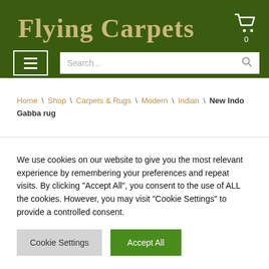Flying Carpets
Home \ Shop \ Carpets & Rugs \ Modern \ Indian \ New Indo Gabba rug
We use cookies on our website to give you the most relevant experience by remembering your preferences and repeat visits. By clicking “Accept All”, you consent to the use of ALL the cookies. However, you may visit "Cookie Settings" to provide a controlled consent.